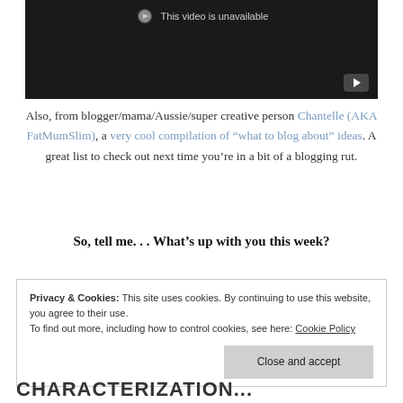[Figure (screenshot): YouTube-style video player with dark background showing 'This video is unavailable' message and a play button in the bottom right corner.]
Also, from blogger/mama/Aussie/super creative person Chantelle (AKA FatMumSlim), a very cool compilation of "what to blog about" ideas. A great list to check out next time you're in a bit of a blogging rut.
So, tell me. . . What's up with you this week?
Privacy & Cookies: This site uses cookies. By continuing to use this website, you agree to their use.
To find out more, including how to control cookies, see here: Cookie Policy
Close and accept
CHARACTERIZATION...